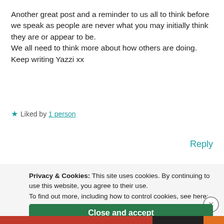Another great post and a reminder to us all to think before we speak as people are never what you may initially think they are or appear to be.
We all need to think more about how others are doing.
Keep writing Yazzi xx
★ Liked by 1 person
Reply
Privacy & Cookies: This site uses cookies. By continuing to use this website, you agree to their use.
To find out more, including how to control cookies, see here: Cookie Policy
Close and accept